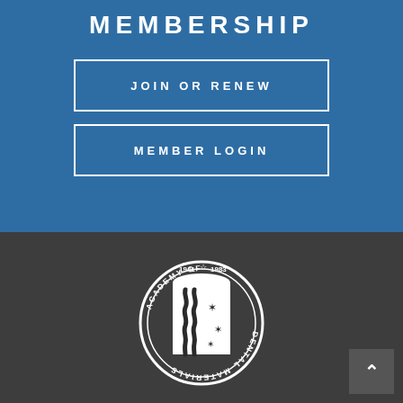MEMBERSHIP
JOIN OR RENEW
MEMBER LOGIN
[Figure (logo): Academy of Dental Materials circular seal/logo with wavy lines, stars, and text reading 'ACADEMY OF DENTAL MATERIALS 1941 1983']